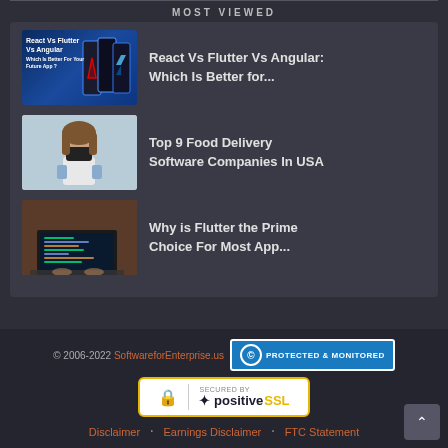MOST VIEWED
[Figure (screenshot): Thumbnail image for React Vs Flutter Vs Angular article - dark blue background with mobile phone graphics and white text]
React Vs Flutter Vs Angular: Which Is Better for...
[Figure (photo): Thumbnail image for Food Delivery article - woman wearing face mask]
Top 9 Food Delivery Software Companies In USA
[Figure (photo): Thumbnail image for Flutter article - person working on laptop with code on screen]
Why is Flutter the Prime Choice For Most App...
© 2006-2022 SoftwareforEnterprise.us   PROTECTED & MONITORED   SECURED BY positive SSL   Disclaimer   Earnings Disclaimer   FTC Statement